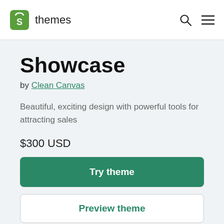Shopify themes
Showcase
by Clean Canvas
Beautiful, exciting design with powerful tools for attracting sales
$300 USD
Try theme
Preview theme